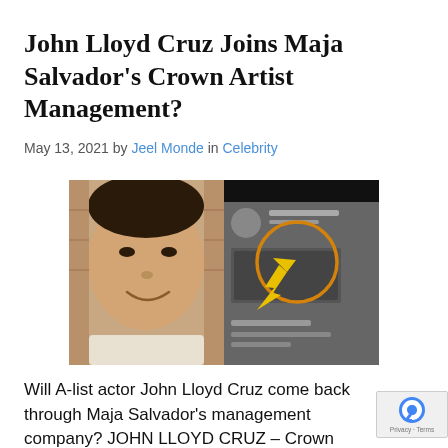John Lloyd Cruz Joins Maja Salvador's Crown Artist Management?
May 13, 2021 by Jeel Monde in Celebrity
[Figure (photo): Composite image: left side shows a man (John Lloyd Cruz) smiling in a close-up selfie against a brick wall; right side shows a blurry screenshot of a social media post with a yellow arrow pointing to a circled area highlighted in orange/gold.]
Will A-list actor John Lloyd Cruz come back through Maja Salvador's management company? JOHN LLOYD CRUZ – Crown Artist